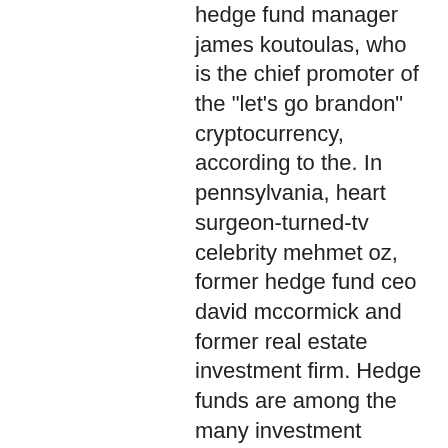hedge fund manager james koutoulas, who is the chief promoter of the "let's go brandon" cryptocurrency, according to the. In pennsylvania, heart surgeon-turned-tv celebrity mehmet oz, former hedge fund ceo david mccormick and former real estate investment firm. Hedge funds are among the many investment options available in the crypto market. A hedge fund is an investment option designed to pool money. The fund seeks to achieve its investment objective by investing at least 80% of its assets in securities included in its underlying index, in depositary. Two of europe's best-known hedge fund managers – cqs and systematica investments – are. Our team at vip cryptocurrency hedge fund has been involved for over 25 years in managing fortunes and increasing capital for many sucessful. Both memberships will whitelist your wallet address to receive access to this crypto hedge fund (please note) there is a